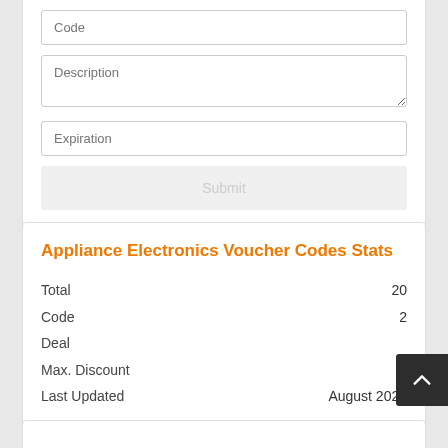Code
Description
Expiration
Submit
Appliance Electronics Voucher Codes Stats
|  |  |
| --- | --- |
| Total | 20 |
| Code | 2 |
| Deal |  |
| Max. Discount |  |
| Last Updated | August 2022 |